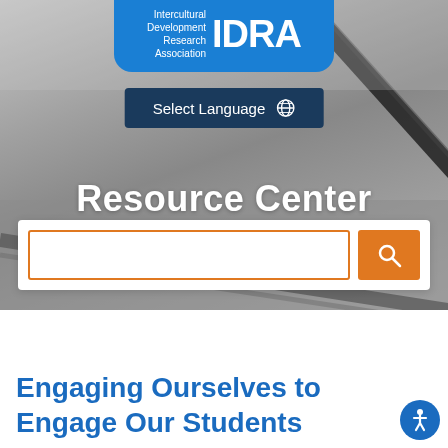[Figure (screenshot): IDRA (Intercultural Development Research Association) website Resource Center page. Shows a blurred books/pencils background in greyscale, the IDRA logo in blue at top, a 'Select Language' button with globe icon, a large 'Resource Center' white text heading, a search bar with orange border and orange search button, followed by a white section below with blue bold text reading 'Engaging Ourselves to Engage Our Students' and a blue accessibility icon.]
Resource Center
Select Language
Engaging Ourselves to Engage Our Students